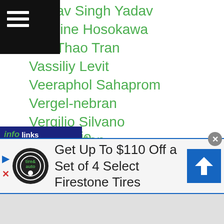...bhav Singh Yadav
...entine Hosokawa
...Thao Tran
Vassiliy Levit
Veeraphol Sahaprom
Vergel-nebran
Vergilio Silvano
Vergil Puton
Vic Darchinyan
Vic Saludar
Victoriva
Victory 8
Vietnam
Vijender Singh
Vikas Krishan Yadav
Viktor Kotochigov
Astrolabio
[Figure (screenshot): Advertisement banner: Firestone Tires - Get Up To $110 Off a Set of 4 Select Firestone Tires, with Tire & Auto logo and blue directional arrow icon]